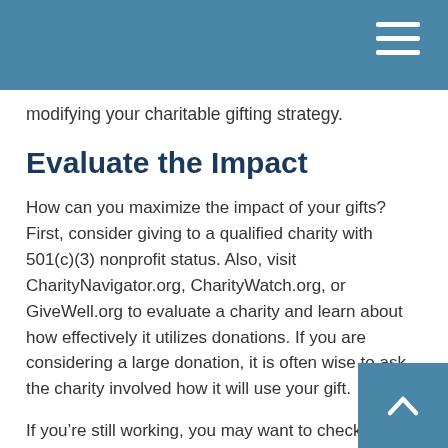modifying your charitable gifting strategy.
Evaluate the Impact
How can you maximize the impact of your gifts? First, consider giving to a qualified charity with 501(c)(3) nonprofit status. Also, visit CharityNavigator.org, CharityWatch.org, or GiveWell.org to evaluate a charity and learn about how effectively it utilizes donations. If you are considering a large donation, it is often wise to ask the charity involved how it will use your gift.
If you’re still working, you may want to check with your employer. Some companies match charitable contributions made by their employees, an often-overlooked opportunity to give back.